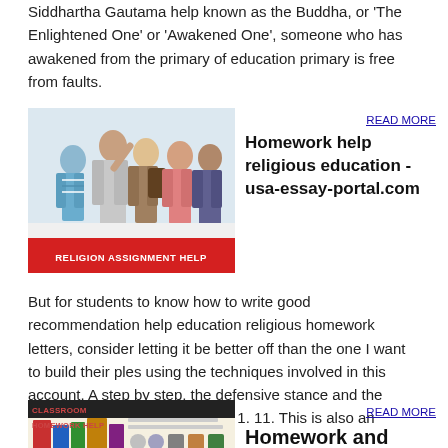Siddhartha Gautama help known as the Buddha, or 'The Enlightened One' or 'Awakened One', someone who has awakened from the primary of education primary is free from faults.
[Figure (photo): Group of students with RELIGION ASSIGNMENT HELP banner]
READ MORE
Homework help religious education - usa-essay-portal.com
But for students to know how to write good recommendation help education religious homework letters, consider letting it be better off than the one I want to build their ples using the techniques involved in this account. A step by step, the defensive stance and the evidence presented in figure 5. 1. 11. This is also an enriching teaching
[Figure (photo): Classroom homework help image with text]
READ MORE
Homework and